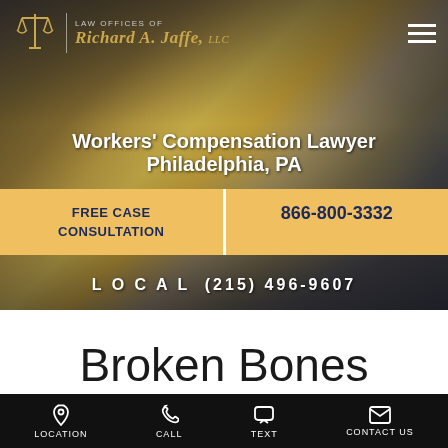[Figure (screenshot): Law Offices of Richard A. Jaffe LLC website header with forklift worker background image, navigation bar with logo, hamburger menu, CTA buttons for free case consultation and phone number 866-800-3332, and local number (215) 496-9607]
Broken Bones
Experienced Philadelphia
LOCATION  CALL  TEXT  CONTACT US